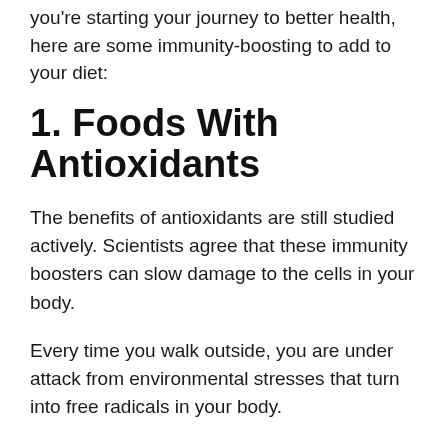you're starting your journey to better health, here are some immunity-boosting to add to your diet:
1. Foods With Antioxidants
The benefits of antioxidants are still studied actively. Scientists agree that these immunity boosters can slow damage to the cells in your body.
Every time you walk outside, you are under attack from environmental stresses that turn into free radicals in your body.
If you can't get rid of those free radicals fast